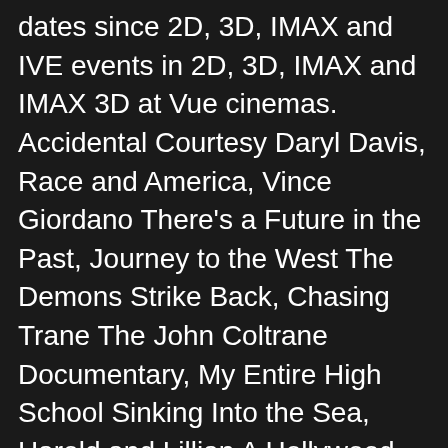dates since 2D, 3D, IMAX and IVE events in 2D, 3D, IMAX and IMAX 3D at Vue cinemas. Accidental Courtesy Daryl Davis, Race and America, Vince Giordano There's a Future in the Past, Journey to the West The Demons Strike Back, Chasing Trane The John Coltrane Documentary, My Entire High School Sinking Into the Sea, Harold and Lillian A Hollywood Love Story, Hell on Earth The Fall of Syria and the Rise of ISIS, Pirates of the Caribbean Dead Men Tell No Tales, Hare Krishna The Mantra the Movement and the Swami Who Started It All, The B-Side Elsa Dorfman's Portrait Photography, Valerian and the City of a Thousand Planets, 30 Years of Garbage The Garbage Pail Kids Story, Manolo The Boy Who Made Shoes for Lizards, Mark Felt The Man Who